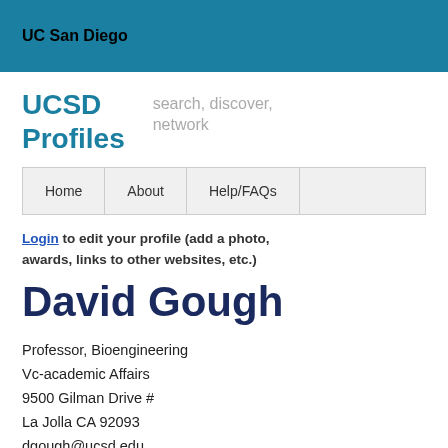UC San Diego
UCSD Profiles
search, discover, network
Home
About
Help/FAQs
Login to edit your profile (add a photo, awards, links to other websites, etc.)
David Gough
Professor, Bioengineering
Vc-academic Affairs
9500 Gilman Drive #
La Jolla CA 92093
dgough@ucsd.edu